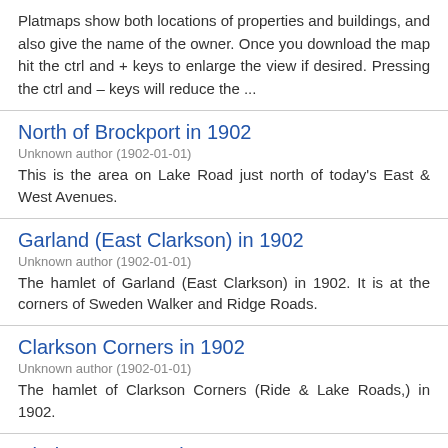Platmaps show both locations of properties and buildings, and also give the name of the owner. Once you download the map hit the ctrl and + keys to enlarge the view if desired. Pressing the ctrl and – keys will reduce the ...
North of Brockport in 1902
Unknown author (1902-01-01)
This is the area on Lake Road just north of today's East & West Avenues.
Garland (East Clarkson) in 1902
Unknown author (1902-01-01)
The hamlet of Garland (East Clarkson) in 1902. It is at the corners of Sweden Walker and Ridge Roads.
Clarkson Corners in 1902
Unknown author (1902-01-01)
The hamlet of Clarkson Corners (Ride & Lake Roads,) in 1902.
Clarkson Corners in 1872
Unknown author
Clarkson Corners is the hamlet surrounding the intersections of